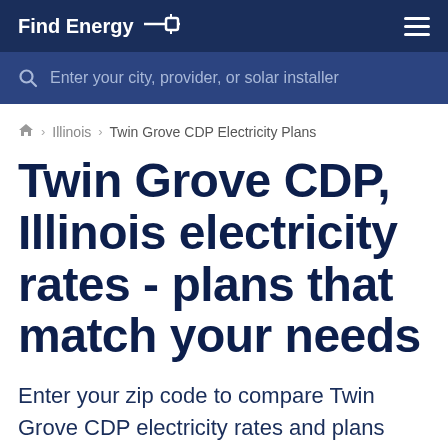Find Energy
Enter your city, provider, or solar installer
Home › Illinois › Twin Grove CDP Electricity Plans
Twin Grove CDP, Illinois electricity rates - plans that match your needs
Enter your zip code to compare Twin Grove CDP electricity rates and plans